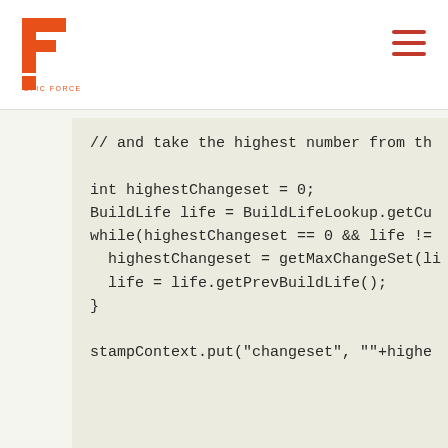Epic Force logo and navigation
// and take the highest number from th

int highestChangeset = 0;
BuildLife life = BuildLifeLookup.getCu
while(highestChangeset == 0 && life !=
  highestChangeset = getMaxChangeSet(li
  life = life.getPrevBuildLife();
}

stampContext.put("changeset", ""+highe
import com.urbancode.vcsdriver3.*;
import com.urbancode.anthill3.domain.b
import com.urbancode.anthill3.runtime.